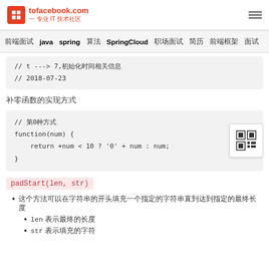tofacebook.com — 专业IT技术社区
前端面试  java  spring  算法  SpringCloud  职场面试  简历  前端框架  面试
// t ----> 7,初始化时间相关信息
// 2018-07-23
补零函数的实现方式
// 第0种方式
function(num) {
    return +num < 10 ? '0' + num : num;
}
padStart(len, str)
这个方法可以在字符串的开头填充一个指定的字符串直到达到指定的最终长度
len 表示最终的长度
str 表示填充的字符